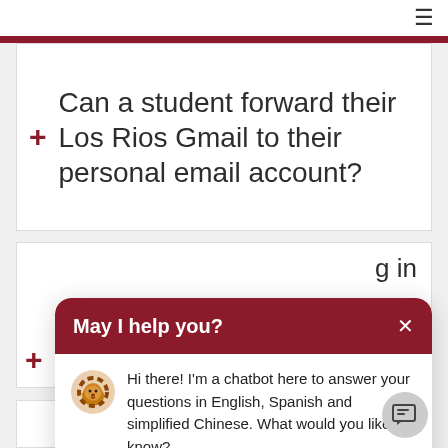≡
Can a student forward their Los Rios Gmail to their personal email account?
[Figure (screenshot): Chatbot popup with header 'May I help you?' and message: Hi there! I'm a chatbot here to answer your questions in English, Spanish and simplified Chinese. What would you like to know?]